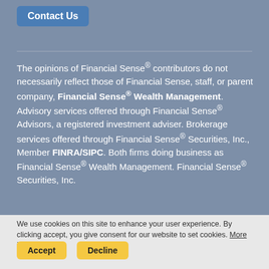Contact Us
The opinions of Financial Sense® contributors do not necessarily reflect those of Financial Sense, staff, or parent company, Financial Sense® Wealth Management. Advisory services offered through Financial Sense® Advisors, a registered investment adviser. Brokerage services offered through Financial Sense® Securities, Inc., Member FINRA/SIPC. Both firms doing business as Financial Sense® Wealth Management. Financial Sense® Securities, Inc.
We use cookies on this site to enhance your user experience. By clicking accept, you give consent for our website to set cookies. More info
Accept
Decline